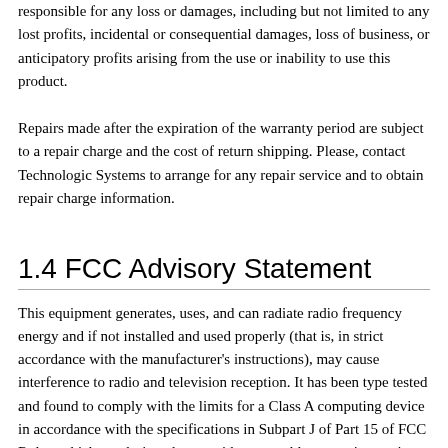responsible for any loss or damages, including but not limited to any lost profits, incidental or consequential damages, loss of business, or anticipatory profits arising from the use or inability to use this product.
Repairs made after the expiration of the warranty period are subject to a repair charge and the cost of return shipping. Please, contact Technologic Systems to arrange for any repair service and to obtain repair charge information.
1.4 FCC Advisory Statement
This equipment generates, uses, and can radiate radio frequency energy and if not installed and used properly (that is, in strict accordance with the manufacturer's instructions), may cause interference to radio and television reception. It has been type tested and found to comply with the limits for a Class A computing device in accordance with the specifications in Subpart J of Part 15 of FCC Rules, which are designed to provide reasonable protection against such interference when